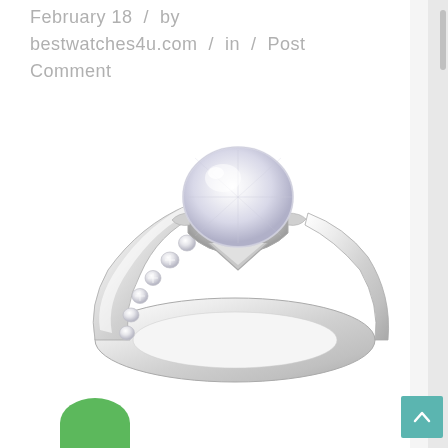February 18  /  by bestwatches4u.com  /  in  /  Post Comment
[Figure (photo): A diamond solitaire engagement ring with a round brilliant-cut center stone held in a six-prong setting, with pavé-set diamonds along the band. The ring is silver/platinum colored, photographed on a white background at a three-quarter angle.]
[Figure (other): Partial green circle visible at the bottom left, likely a logo or button element.]
[Figure (other): Teal/turquoise scroll-to-top button with an upward chevron arrow at the bottom right corner.]